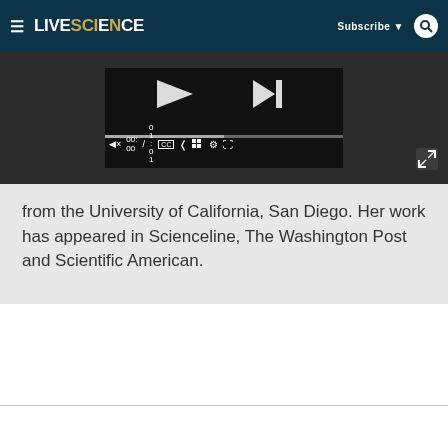LIVESCIENCE — Subscribe — Search
[Figure (screenshot): Video player screenshot showing media controls: play button, timestamp 00:00 / 01:01, mute, CC, share, grid, settings, fullscreen buttons with progress bar]
from the University of California, San Diego. Her work has appeared in Scienceline, The Washington Post and Scientific American.